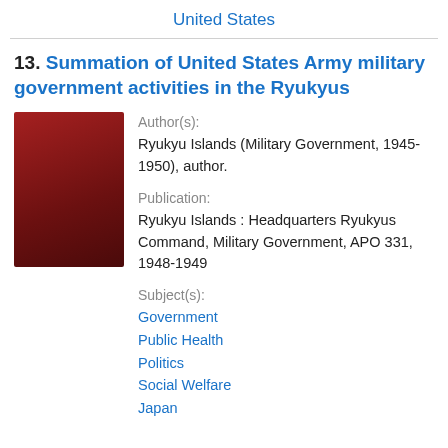United States
13. Summation of United States Army military government activities in the Ryukyus
Author(s):
Ryukyu Islands (Military Government, 1945-1950), author.
[Figure (photo): Book cover thumbnail — dark red/maroon colored book cover]
Publication:
Ryukyu Islands : Headquarters Ryukyus Command, Military Government, APO 331, 1948-1949
Subject(s):
Government
Public Health
Politics
Social Welfare
Japan